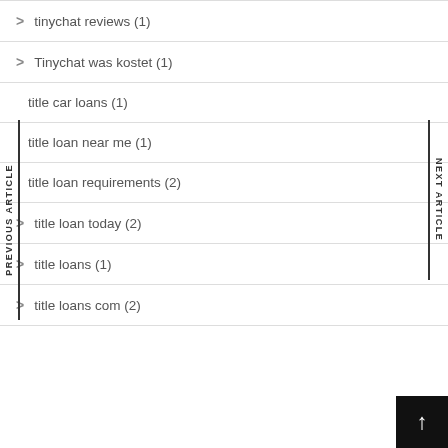tinychat reviews (1)
Tinychat was kostet (1)
title car loans (1)
title loan near me (1)
title loan requirements (2)
title loan today (2)
title loans (1)
title loans com (2)